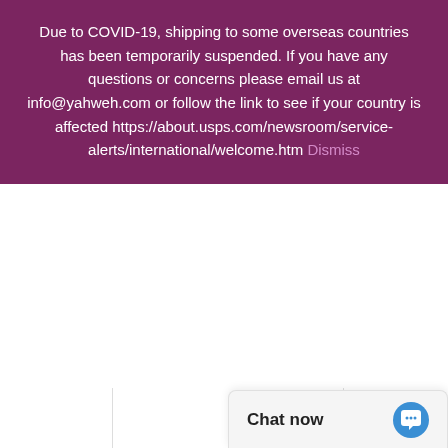Due to COVID-19, shipping to some overseas countries has been temporarily suspended. If you have any questions or concerns please email us at info@yahweh.com or follow the link to see if your country is affected https://about.usps.com/newsroom/service-alerts/international/welcome.htm Dismiss
prophecies, and foretelling of prophecies for a set time known as the Last Days, these books do not disappoint. With answers to questions most people never even knew to ask, this two-set volume forever changes the reader – of that there is very little doubt.
Chat now